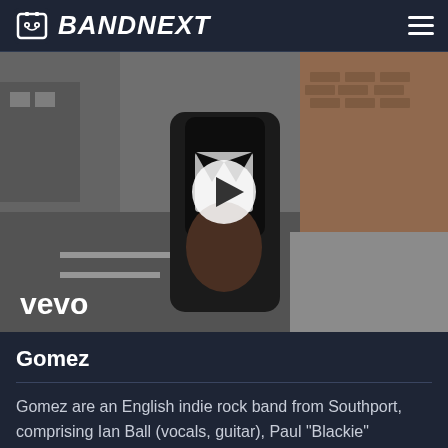BANDNEXT
[Figure (photo): A person in a dark suit photographed upside-down on an urban street, with a Vevo logo overlay and a play button in the center.]
Gomez
Gomez are an English indie rock band from Southport, comprising Ian Ball (vocals, guitar), Paul "Blackie" Blackburn (bass), Tom Gray (vocals, guitars, keyboards), Ben Ottewell